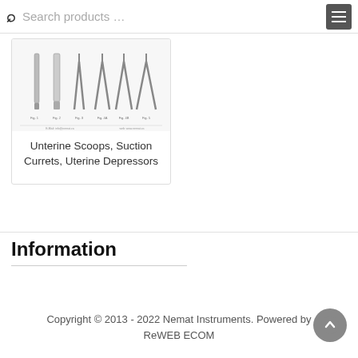Search products …
[Figure (illustration): Illustration of uterine scoops, suction currets, and uterine depressors surgical instruments shown as line drawings]
Unterine Scoops, Suction Currets, Uterine Depressors
Information
Copyright © 2013 - 2022 Nemat Instruments. Powered by ReWEB ECOM